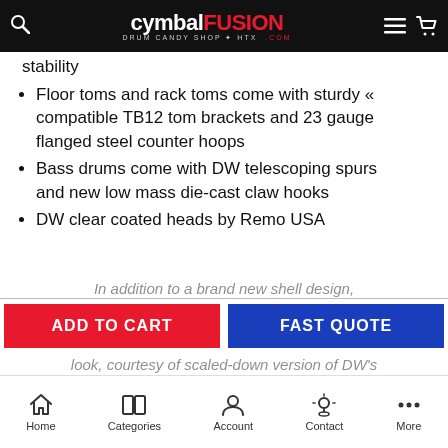cymbalFUSION DRUM CANDY SHOP HTX .com
stability
Floor toms and rack toms come with sturdy « compatible TB12 tom brackets and 23 gauge flanged steel counter hoops
Bass drums come with DW telescoping spurs and new low mass die-cast claw hooks
DW clear coated heads by Remo USA
In addition to a brand new shell design,
ADD TO CART
FAST QUOTE
look, courtesy of scaled-down version of DW's
Home  Categories  Account  Contact  More